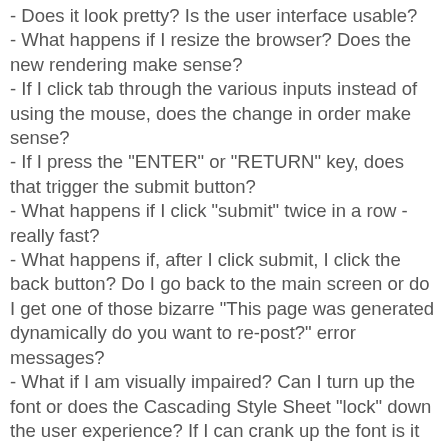- Does it look pretty? Is the user interface usable?
- What happens if I resize the browser? Does the new rendering make sense?
- If I click tab through the various inputs instead of using the mouse, does the change in order make sense?
- If I press the "ENTER" or "RETURN" key, does that trigger the submit button?
- What happens if I click "submit" twice in a row - really fast?
- What happens if, after I click submit, I click the back button? Do I go back to the main screen or do I get one of those bizarre "This page was generated dynamically do you want to re-post?" error messages?
- What if I am visually impaired? Can I turn up the font or does the Cascading Style Sheet "lock" down the user experience? If I can crank up the font is it visually appealing?
- What if I am blind? Can I use the application by a tool for the blind like Lynx? Do all of the images have "alt=" tags?
- Is the web service reasonably fast? What if it's used by 100 users all at the same time? (Note: This was never a problem on MS-DOS, where you only had one user at a time)
- Can I run the application on my 1024x600 netbook? The ads said my netbook was good "for web surfing"